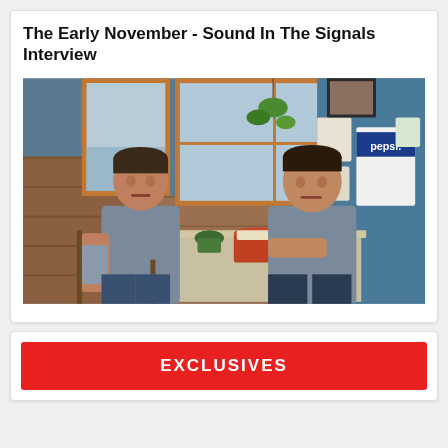The Early November - Sound In The Signals Interview
[Figure (photo): Two men sitting at a restaurant table with food and drinks, inside a casual diner with red-framed windows, wood paneling, and a Pepsi advertisement on the blue wall.]
EXCLUSIVES